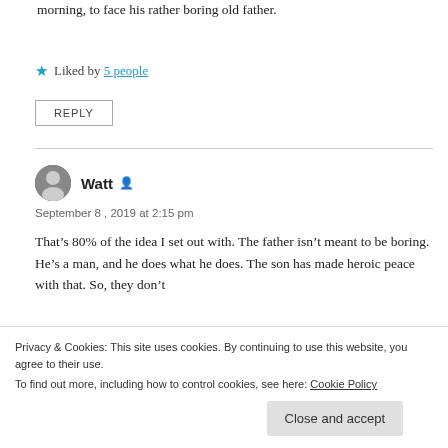morning, to face his rather boring old father.
Liked by 5 people
REPLY
Watt
September 8, 2019 at 2:15 pm
That’s 80% of the idea I set out with. The father isn’t meant to be boring. He’s a man, and he does what he does. The son has made heroic peace with that. So, they don’t
Privacy & Cookies: This site uses cookies. By continuing to use this website, you agree to their use. To find out more, including how to control cookies, see here: Cookie Policy
Close and accept